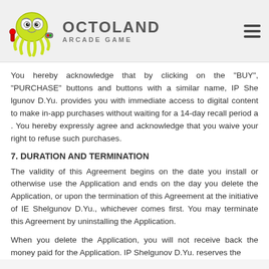OCTOLAND ARCADE GAME
You hereby acknowledge that by clicking on the "BUY", "PURCHASE" buttons and buttons with a similar name, IP She lgunov D.Yu. provides you with immediate access to digital content to make in-app purchases without waiting for a 14-day recall period a . You hereby expressly agree and acknowledge that you waive your right to refuse such purchases.
7. DURATION AND TERMINATION
The validity of this Agreement begins on the date you install or otherwise use the Application and ends on the day you delete the Application, or upon the termination of this Agreement at the initiative of IE Shelgunov D.Yu., whichever comes first. You may terminate this Agreement by uninstalling the Application.
When you delete the Application, you will not receive back the money paid for the Application. IP Shelgunov D.Yu. reserves the